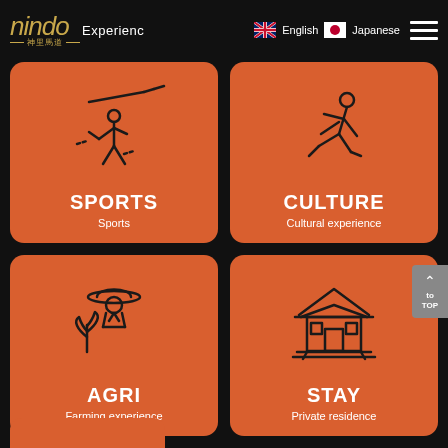nindo Experience  English  Japanese
[Figure (illustration): SPORTS card - orange rounded rectangle with line icon of person fishing/casting, label SPORTS / Sports]
[Figure (illustration): CULTURE card - orange rounded rectangle with line icon of running person, label CULTURE / Cultural experience]
[Figure (illustration): AGRI card - orange rounded rectangle with line icon of farmer with hat and plant, label AGRI / Farming experience]
[Figure (illustration): STAY card - orange rounded rectangle with line icon of traditional Japanese house, label STAY / Private residence]